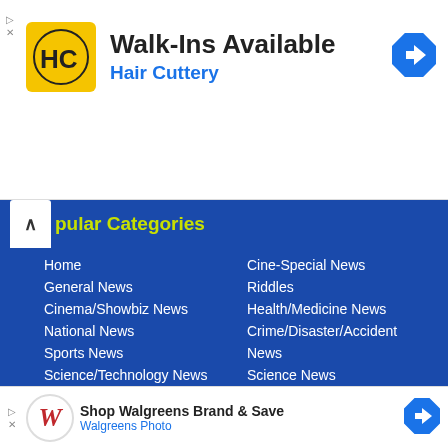[Figure (infographic): Hair Cuttery advertisement banner: Walk-Ins Available with HC logo and navigation icon]
Popular Categories
Home
General News
Cinema/Showbiz News
National News
Sports News
Science/Technology News
Cine-Special News
Riddles
Health/Medicine News
Crime/Disaster/Accident
News
Science News
[Figure (infographic): Walgreens advertisement banner: Shop Walgreens Brand & Save, Walgreens Photo with navigation icon]